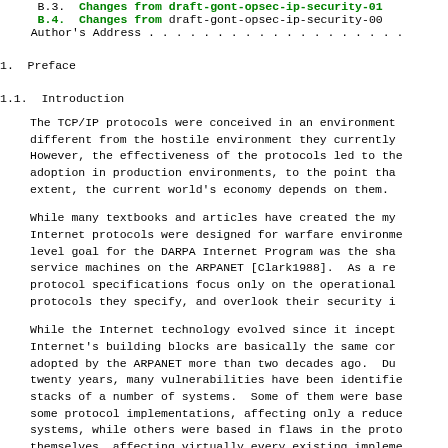B.3. Changes from draft-gont-opsec-ip-security-01
B.4. Changes from draft-gont-opsec-ip-security-00
Author's Address . . . . . . . . . . . . . . . . . . .
1.  Preface
1.1.  Introduction
The TCP/IP protocols were conceived in an environment different from the hostile environment they currently However, the effectiveness of the protocols led to the adoption in production environments, to the point tha extent, the current world's economy depends on them.
While many textbooks and articles have created the my Internet protocols were designed for warfare environme level goal for the DARPA Internet Program was the sha service machines on the ARPANET [Clark1988]. As a re protocol specifications focus only on the operational protocols they specify, and overlook their security i
While the Internet technology evolved since it incep Internet's building blocks are basically the same cor adopted by the ARPANET more than two decades ago. Du twenty years, many vulnerabilities have been identifie stacks of a number of systems. Some of them were base some protocol implementations, affecting only a reduc systems, while others were based in flaws in the prot themselves, affecting virtually every existing impleme [Bellovin1989]. Even in the last couple of years, re still working on security problems in the core prote